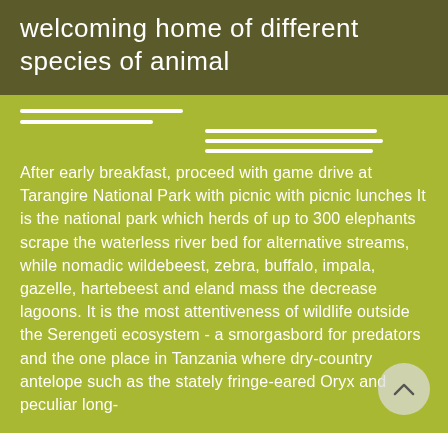welcoming home of different species of animal
[Figure (infographic): Decorative menu/hamburger icon lines arranged in two groups — two lines on the left and three lines on the right, all white on a green background]
After early breakfast, proceed with game drive at Tarangire National Park with picnic with picnic lunches It is the national park which herds of up to 300 elephants scrape the waterless river bed for alternative streams, while nomadic wildebeest, zebra, buffalo, impala, gazelle, hartebeest and eland mass the decrease lagoons. It is the most attentiveness of wildlife outside the Serengeti ecosystem - a smorgasbord for predators and the one place in Tanzania where dry-country antelope such as the stately fringe-eared Oryx and peculiar long-